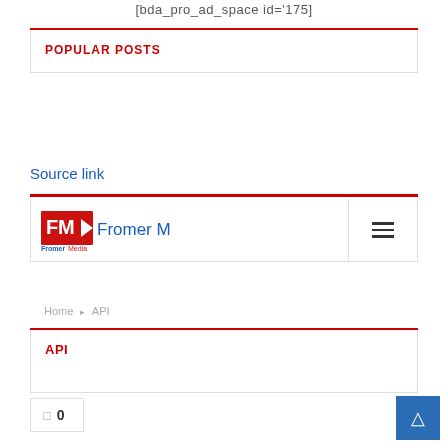[bda_pro_ad_space id='175]
POPULAR POSTS
Source link
[Figure (logo): Fromer Media Group logo with FM icon and hamburger menu]
Home › API
API
0